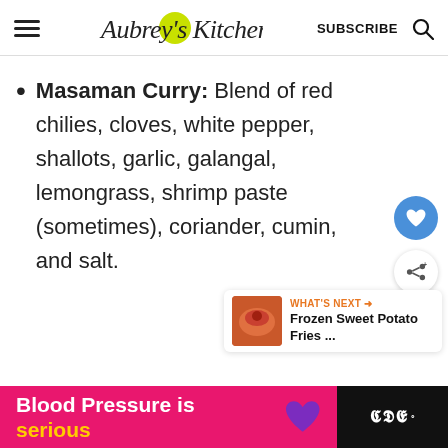Aubrey's Kitchen — SUBSCRIBE
Masaman Curry: Blend of red chilies, cloves, white pepper, shallots, garlic, galangal, lemongrass, shrimp paste (sometimes), coriander, cumin, and salt.
[Figure (other): What's Next widget showing Frozen Sweet Potato Fries with thumbnail image]
[Figure (other): Advertisement banner: Blood Pressure is serious with purple heart icon]